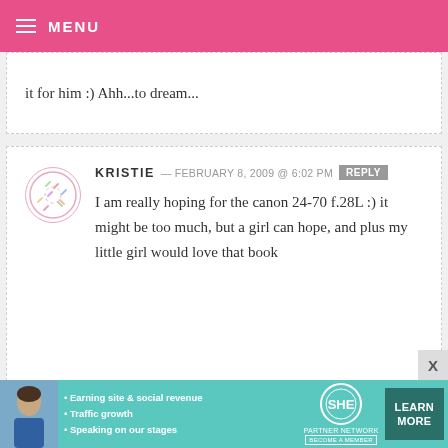MENU
it for him :) Ahh...to dream...
KRISTIE — FEBRUARY 8, 2009 @ 6:02 PM   REPLY
I am really hoping for the canon 24-70 f.28L :) it might be too much, but a girl can hope, and plus my little girl would love that book
MELANEE — FEBRUARY 8, 2009 @ 6:00 PM